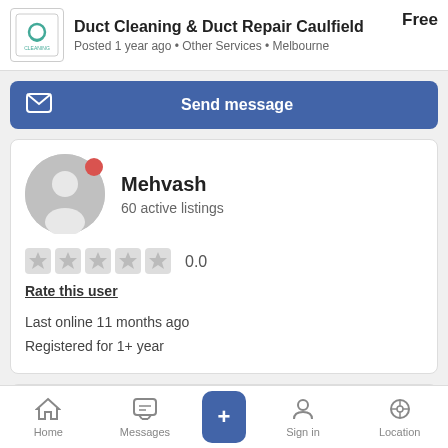Duct Cleaning & Duct Repair Caulfield
Posted 1 year ago • Other Services • Melbourne
Free
Send message
[Figure (illustration): User avatar - grey silhouette circle with red online indicator dot]
Mehvash
60 active listings
0.0
Rate this user
Last online 11 months ago
Registered for 1+ year
Seller's profile
All seller items (60)
Home
Messages
+
Sign in
Location